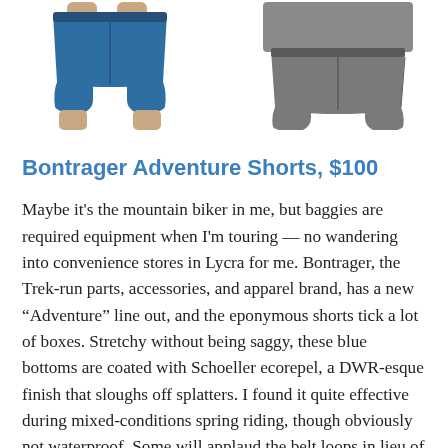[Figure (photo): Two product photos of shorts side by side: left shows blue baggy cycling shorts on a person, right shows gray cycling shorts on a person.]
Bontrager Adventure Shorts, $100
Maybe it's the mountain biker in me, but baggies are required equipment when I'm touring — no wandering into convenience stores in Lycra for me. Bontrager, the Trek-run parts, accessories, and apparel brand, has a new “Adventure” line out, and the eponymous shorts tick a lot of boxes. Stretchy without being saggy, these blue bottoms are coated with Schoeller ecorepel, a DWR-esque finish that sloughs off splatters. I found it quite effective during mixed-conditions spring riding, though obviously not waterproof. Some will applaud the belt loops in lieu of built-in cinch systems, but even with a low-profile nylon belt and